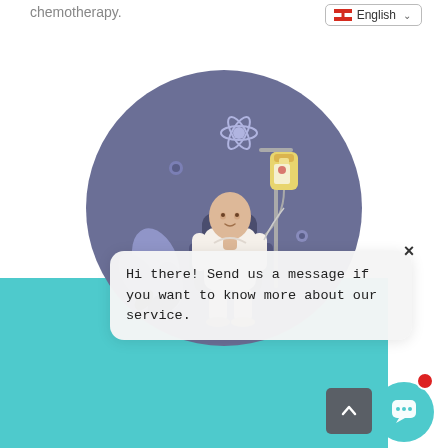chemotherapy.
[Figure (screenshot): Language selector dropdown showing Canadian flag and 'English' label with dropdown arrow]
[Figure (illustration): A medical illustration of a bald patient sitting in a treatment chair receiving an IV drip, with decorative plants and atomic/science icons in a purple-gray circular background]
Hi there! Send us a message if you want to know more about our service.
[Figure (screenshot): Chat widget interface with close (X) button, scroll-to-top button (gray square with up arrow), and chat button (teal circle with speech bubble icon) with red notification dot]